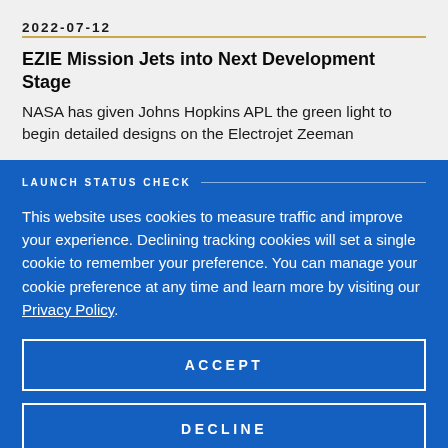2022-07-12
EZIE Mission Jets into Next Development Stage
NASA has given Johns Hopkins APL the green light to begin detailed designs on the Electrojet Zeeman
LAUNCH STATUS CHECK
This website uses cookies to measure traffic and improve your experience. Declining tracking cookies will set a single cookie to remember your preference. You can manage your cookie preference at any time and learn more by visiting our Privacy Policy.
ACCEPT
DECLINE